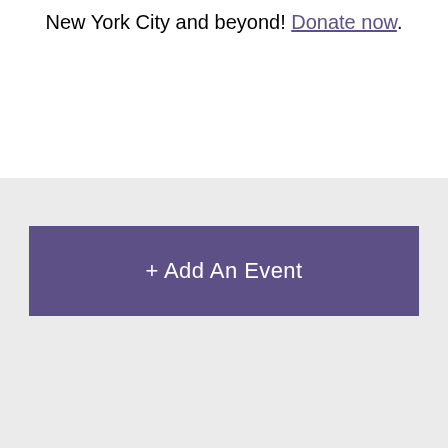New York City and beyond! Donate now.
+ Add An Event